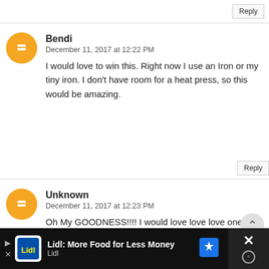Reply
Bendi
December 11, 2017 at 12:22 PM
I would love to win this. Right now I use an Iron or my tiny iron. I don't have room for a heat press, so this would be amazing.
Reply
Unknown
December 11, 2017 at 12:23 PM
Oh My GOODNESS!!!! I would love love love one of these!!! I have been eyeing them for a while now!
Reply
[Figure (infographic): Advertisement banner for Lidl: More Food for Less Money with Lidl logo]